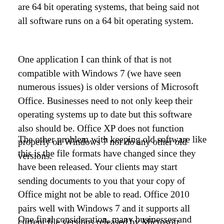are 64 bit operating systems, that being said not all software runs on a 64 bit operating system.
One application I can think of that is not compatible with Windows 7 (we have seen numerous issues) is older versions of Microsoft Office. Businesses need to not only keep their operating systems up to date but this software also should be. Office XP does not function properly on Windows 7 nor do any other old versions.
The other problem with keeping old software like this is the file formats have changed since they have been released. Your clients may start sending documents to you that your copy of Office might not be able to read. Office 2010 pairs well with Windows 7 and it supports all current file versions released by Microsoft.
One final consideration, many businesses and users